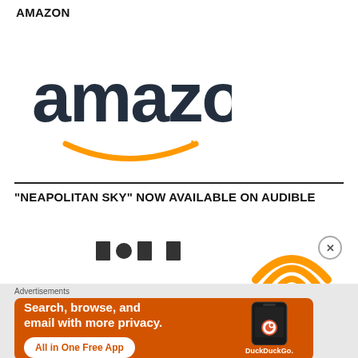AMAZON
[Figure (logo): Amazon logo with orange smile/arrow underneath the word 'amazon' in dark gray lettering]
“NEAPOLITAN SKY” NOW AVAILABLE ON AUDIBLE
[Figure (logo): Audible logo: orange arc/wifi-like signal bars with a circle underneath, recognizable Audible brand mark]
[Figure (screenshot): DuckDuckGo advertisement banner showing orange background, text 'Search, browse, and email with more privacy. All in One Free App' with a phone mockup and DuckDuckGo logo]
Advertisements